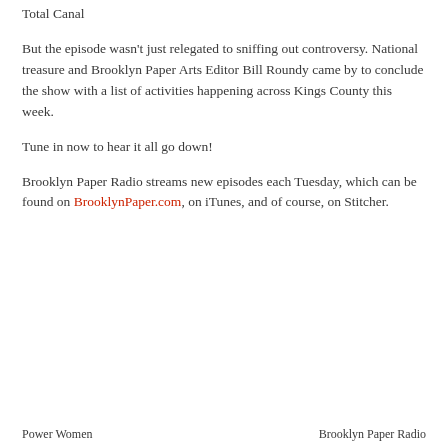Total Canal
But the episode wasn't just relegated to sniffing out controversy. National treasure and Brooklyn Paper Arts Editor Bill Roundy came by to conclude the show with a list of activities happening across Kings County this week.
Tune in now to hear it all go down!
Brooklyn Paper Radio streams new episodes each Tuesday, which can be found on BrooklynPaper.com, on iTunes, and of course, on Stitcher.
Power Women    Brooklyn Paper Radio